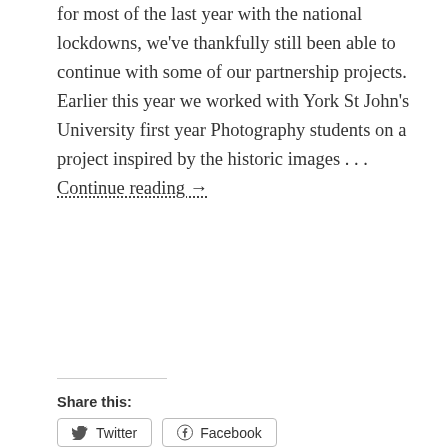for most of the last year with the national lockdowns, we've thankfully still been able to continue with some of our partnership projects. Earlier this year we worked with York St John's University first year Photography students on a project inspired by the historic images . . . Continue reading →
Share this:
[Figure (screenshot): Twitter and Facebook share buttons with rounded rectangle borders]
[Figure (screenshot): Like button with star icon and two blogger avatar thumbnails, with text '2 bloggers like this.']
Laura Yeoman, Archivist (Access and Engagement)
May 6, 2021